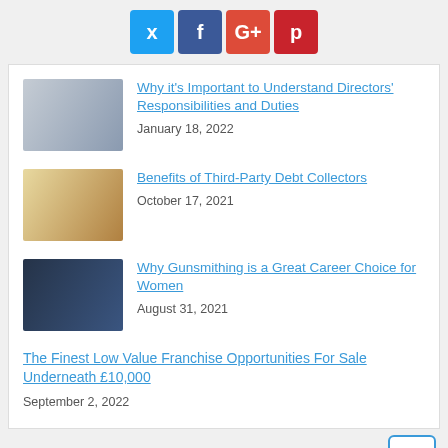[Figure (other): Social media share buttons: Twitter (blue), Facebook (dark blue), Google+ (red), Pinterest (red)]
Why it's Important to Understand Directors' Responsibilities and Duties — January 18, 2022
Benefits of Third-Party Debt Collectors — October 17, 2021
Why Gunsmithing is a Great Career Choice for Women — August 31, 2021
The Finest Low Value Franchise Opportunities For Sale Underneath £10,000 — September 2, 2022
Recent Posts